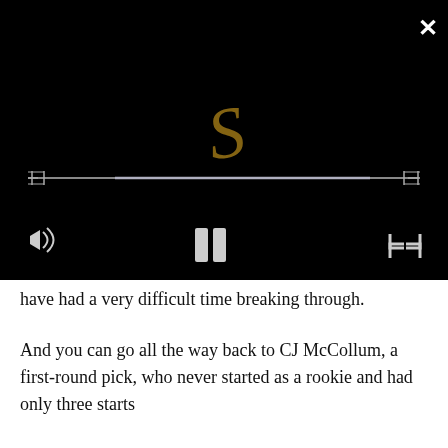[Figure (screenshot): Video player with black background, an ornate gold/brown cursive letter S visible in the center, a progress bar at mid-player, and player controls (volume, pause, fullscreen) at the bottom. A white X close button is in the top-right corner.]
have had a very difficult time breaking through.
And you can go all the way back to CJ McCollum, a first-round pick, who never started as a rookie and had only three starts